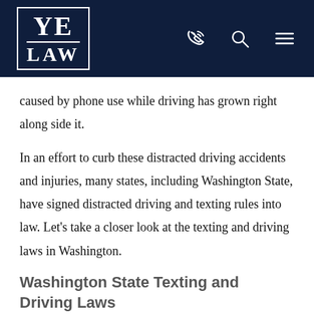YE LAW
caused by phone use while driving has grown right along side it.
In an effort to curb these distracted driving accidents and injuries, many states, including Washington State, have signed distracted driving and texting rules into law. Let’s take a closer look at the texting and driving laws in Washington.
Washington State Texting and Driving Laws